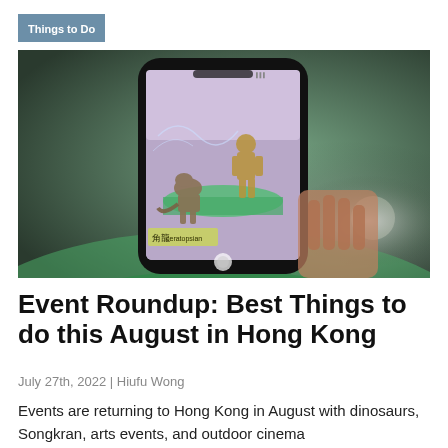Things to Do
[Figure (photo): A hand holding a smartphone displaying an augmented reality scene with animated dinosaurs in a museum-like setting. Chinese characters visible on screen. Background is blurred green and grey tones.]
Event Roundup: Best Things to do this August in Hong Kong
July 27th, 2022 | Hiufu Wong
Events are returning to Hong Kong in August with dinosaurs, Songkran, arts events, and outdoor cinema